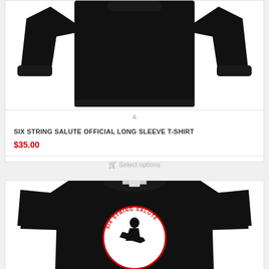[Figure (photo): Black long sleeve sweatshirt/sweater displayed on white background, showing front view with sleeves spread out]
SIX STRING SALUTE OFFICIAL LONG SLEEVE T-SHIRT
$35.00
Select options
[Figure (photo): Black t-shirt with Six String Salute logo - circular design showing silhouette of guitarist with red and white text around circle, stars at bottom]